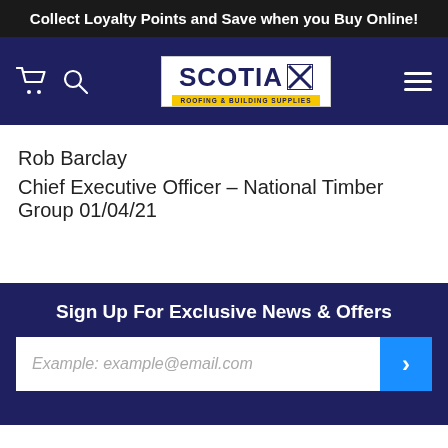Collect Loyalty Points and Save when you Buy Online!
[Figure (logo): Scotia Roofing & Building Supplies logo on navy navigation bar with cart icon, search icon, and hamburger menu]
Rob Barclay
Chief Executive Officer – National Timber Group 01/04/21
Sign Up For Exclusive News & Offers
Example: example@email.com